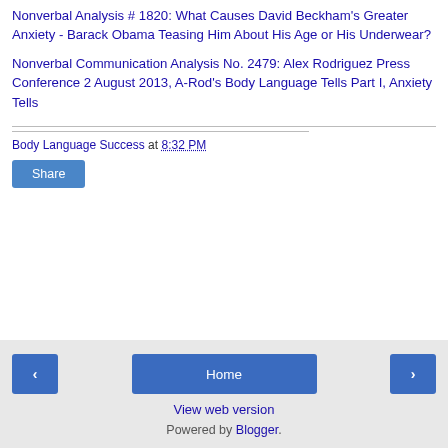Nonverbal Analysis # 1820: What Causes David Beckham's Greater Anxiety - Barack Obama Teasing Him About His Age or His Underwear?
Nonverbal Communication Analysis No. 2479: Alex Rodriguez Press Conference 2 August 2013, A-Rod's Body Language Tells Part I, Anxiety Tells
Body Language Success at 8:32 PM
Share
‹  Home  › View web version Powered by Blogger.